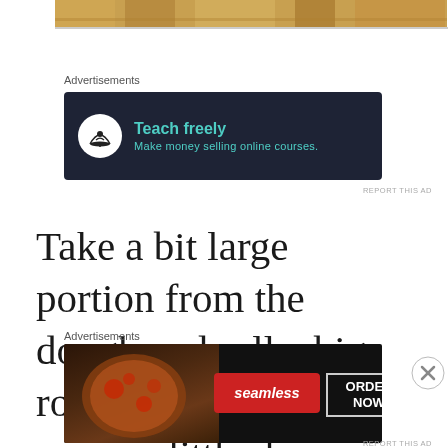[Figure (photo): Cropped food photo at top of page, showing cooked items in warm brown/golden tones]
Advertisements
[Figure (screenshot): Advertisement banner with dark background showing a bonsai tree icon and text: Teach freely / Make money selling online courses.]
REPORT THIS AD
Take a bit large portion from the dough and roll a big roti.. If needed one can use little dry flour . Now, with a sharp knife ,
Advertisements
[Figure (screenshot): Seamless food delivery advertisement showing pizza on dark background with Seamless logo and ORDER NOW button]